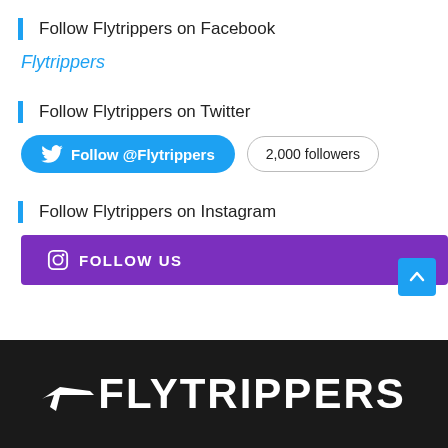Follow Flytrippers on Facebook
Flytrippers
Follow Flytrippers on Twitter
[Figure (other): Twitter Follow @Flytrippers button with 2,000 followers badge]
Follow Flytrippers on Instagram
[Figure (other): Instagram FOLLOW US button in purple]
[Figure (other): Scroll-to-top arrow button in blue]
[Figure (logo): Flytrippers logo in white on dark background with airplane icon]